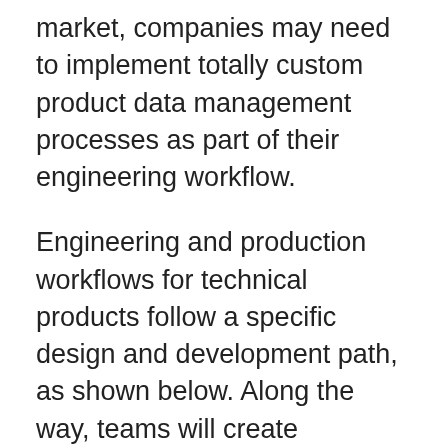market, companies may need to implement totally custom product data management processes as part of their engineering workflow.
Engineering and production workflows for technical products follow a specific design and development path, as shown below. Along the way, teams will create significant amounts of data that must be stored and tracked. Data tracking helps ensure everyone has access to the most current data and previous revisions, but it will also need to be available beyond engineering teams. As the product nears